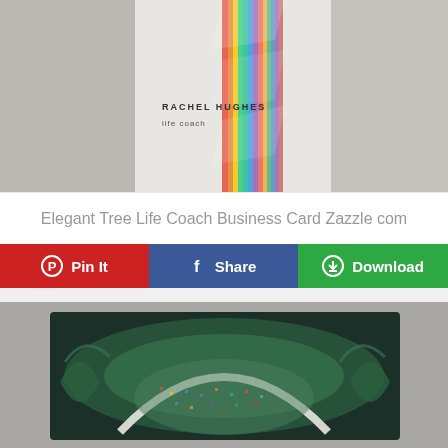[Figure (photo): Business card for Rachel Hughes, life coach, featuring a colorful ribbon/tree design on a light textured background]
Elegant Tree Life Coach Business Card Zazzle com
Pin It  Share  Download
[Figure (photo): Artistic image showing a tree of life motif with swirling green patterns and colorful speckled arch shape]